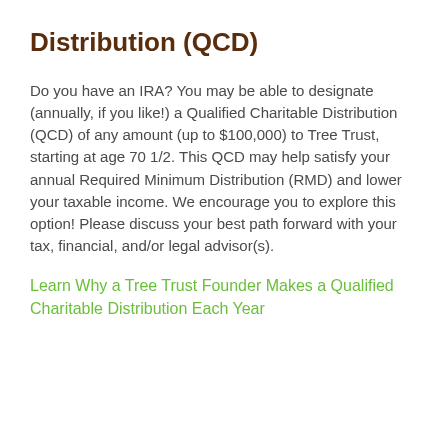Distribution (QCD)
Do you have an IRA? You may be able to designate (annually, if you like!) a Qualified Charitable Distribution (QCD) of any amount (up to $100,000) to Tree Trust, starting at age 70 1/2. This QCD may help satisfy your annual Required Minimum Distribution (RMD) and lower your taxable income. We encourage you to explore this option! Please discuss your best path forward with your tax, financial, and/or legal advisor(s).
Learn Why a Tree Trust Founder Makes a Qualified Charitable Distribution Each Year